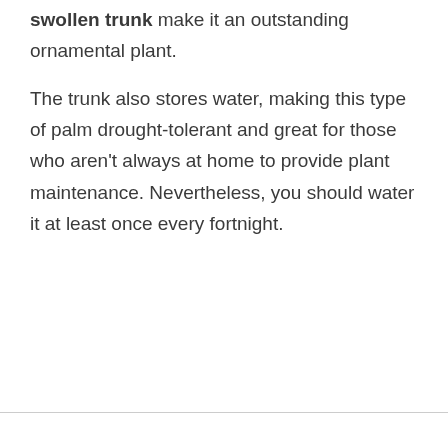swollen trunk make it an outstanding ornamental plant.
The trunk also stores water, making this type of palm drought-tolerant and great for those who aren't always at home to provide plant maintenance. Nevertheless, you should water it at least once every fortnight.